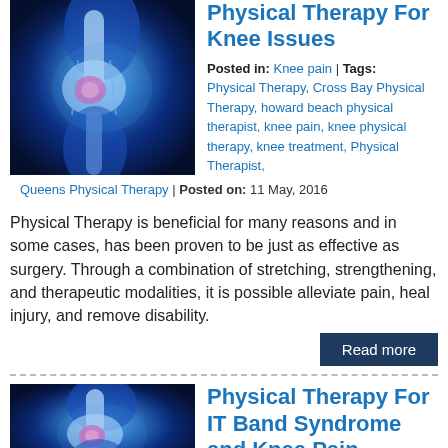[Figure (photo): X-ray style illustration of a knee joint with blue and pink tones showing bones, ligaments and tissues]
Physical Therapy For Knee Issues
Posted in: Knee pain | Tags: Physical Therapy, Cross Bay Physical Therapy, howard beach physical therapist, knee pain, knee physical therapy, knee treatment, Physical Therapist, Queens Physical Therapy | Posted on: 11 May, 2016
Physical Therapy is beneficial for many reasons and in some cases, has been proven to be just as effective as surgery. Through a combination of stretching, strengthening, and therapeutic modalities, it is possible alleviate pain, heal injury, and remove disability.
Read more
[Figure (photo): X-ray style illustration of a knee showing IT band area with blue and pink tones]
Physical Therapy For IT Band Syndrome and Knee Pain